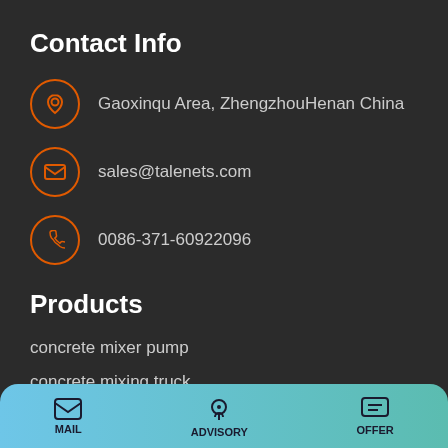Contact Info
Gaoxinqu Area, ZhengzhouHenan China
sales@talenets.com
0086-371-60922096
Products
concrete mixer pump
concrete mixing truck
mobile moncrete batching plant
MAIL   ADVISORY   OFFER